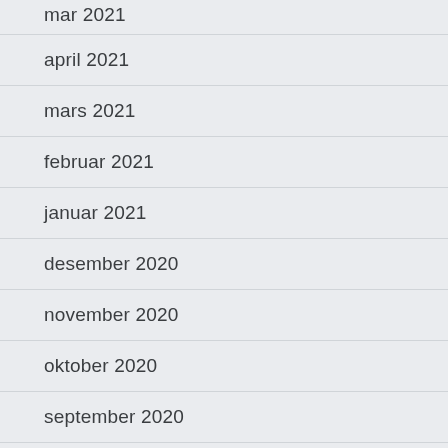mar 2021
april 2021
mars 2021
februar 2021
januar 2021
desember 2020
november 2020
oktober 2020
september 2020
august 2020
juli 2020